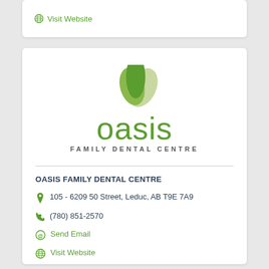Visit Website
[Figure (logo): Oasis Family Dental Centre logo with green leaf design above the text 'oasis' in green and 'FAMILY DENTAL CENTRE' in grey below]
OASIS FAMILY DENTAL CENTRE
105 - 6209 50 Street, Leduc, AB T9E 7A9
(780) 851-2570
Send Email
Visit Website